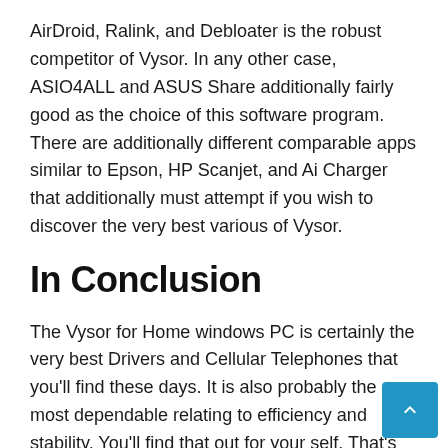AirDroid, Ralink, and Debloater is the robust competitor of Vysor. In any other case, ASIO4ALL and ASUS Share additionally fairly good as the choice of this software program. There are additionally different comparable apps similar to Epson, HP Scanjet, and Ai Charger that additionally must attempt if you wish to discover the very best various of Vysor.
In Conclusion
The Vysor for Home windows PC is certainly the very best Drivers and Cellular Telephones that you'll find these days. It is also probably the most dependable relating to efficiency and stability. You'll find that out for your self. That's the same class of PC system and more.